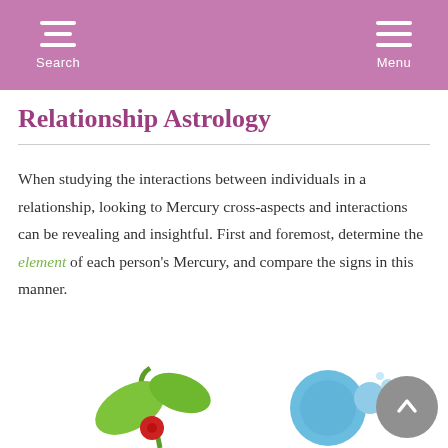Search  Menu
Relationship Astrology
When studying the interactions between individuals in a relationship, looking to Mercury cross-aspects and interactions can be revealing and insightful. First and foremost, determine the element of each person's Mercury, and compare the signs in this manner.
[Figure (illustration): Decorative illustration showing a green plant/cherry and blue water/heart shapes at the bottom of the page]